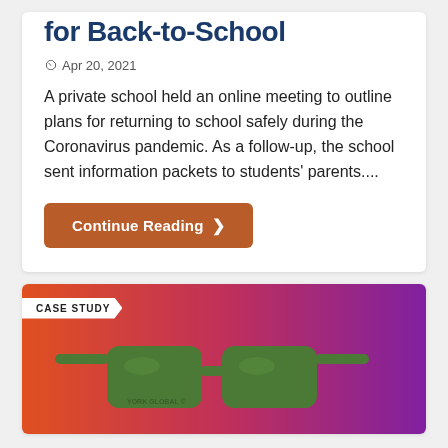for Back-to-School
Apr 20, 2021
A private school held an online meeting to outline plans for returning to school safely during the Coronavirus pandemic. As a follow-up, the school sent information packets to students' parents....
Continue Reading
[Figure (photo): Case study card showing green sunglasses branded 'York Global' on a colorful orange-to-purple gradient background with a 'CASE STUDY' label tag.]